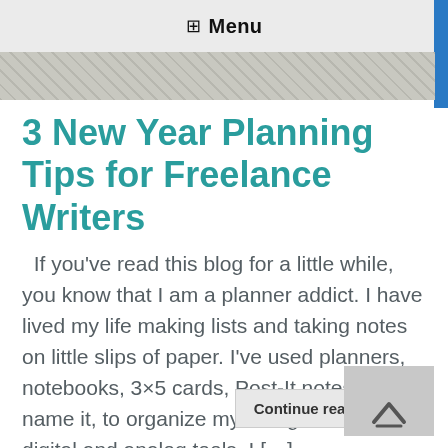Menu
[Figure (photo): Banner image strip showing a decorative patterned background]
3 New Year Planning Tips for Freelance Writers
If you've read this blog for a little while, you know that I am a planner addict. I have lived my life making lists and taking notes on little slips of paper. I've used planners, notebooks, 3×5 cards, Post-It notes, you name it, to organize my thoughts. I've tried digital and analog tools. I […]